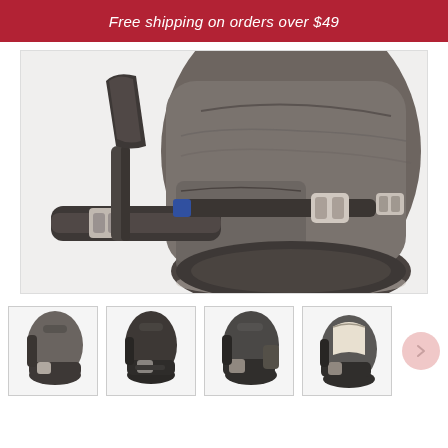Free shipping on orders over $49
[Figure (photo): Close-up side view of a dark grey/charcoal travel backpack showing the bottom portion with hip belt, compression straps with silver buckles, and textured dark bottom panel against a white background.]
[Figure (photo): Thumbnail: dark grey travel backpack shown from front-left angle.]
[Figure (photo): Thumbnail: near-black travel backpack shown from front angle.]
[Figure (photo): Thumbnail: dark charcoal travel backpack shown from front-left angle, open or with side pocket visible.]
[Figure (photo): Thumbnail: dark grey/taupe travel backpack shown partially open revealing light-colored interior lining.]